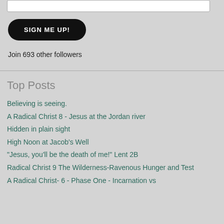SIGN ME UP!
Join 693 other followers
Top Posts
Believing is seeing.
A Radical Christ 8 - Jesus at the Jordan river
Hidden in plain sight
High Noon at Jacob's Well
"Jesus, you'll be the death of me!" Lent 2B
Radical Christ 9 The Wilderness-Ravenous Hunger and Test
A Radical Christ- 6 - Phase One - Incarnation vs